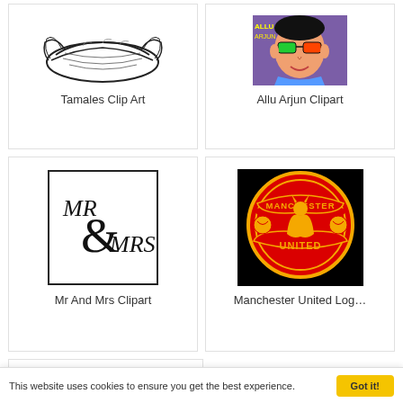[Figure (illustration): Tamales clip art: black and white line drawing of a tamale]
Tamales Clip Art
[Figure (illustration): Allu Arjun Clipart: colorful pop-art style portrait]
Allu Arjun Clipart
[Figure (illustration): Mr And Mrs Clipart: black text in a decorative box with ampersand]
Mr And Mrs Clipart
[Figure (logo): Manchester United Logo: red circular badge with Manchester United text on black background]
Manchester United Log…
[Figure (illustration): Stick figure smoking clipart: cartoon stick figure lying down smoking]
This website uses cookies to ensure you get the best experience.